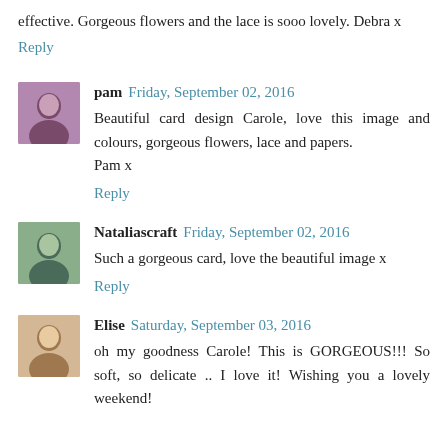effective. Gorgeous flowers and the lace is sooo lovely. Debra x
Reply
pam  Friday, September 02, 2016
Beautiful card design Carole, love this image and colours, gorgeous flowers, lace and papers.
Pam x
Reply
Nataliascraft  Friday, September 02, 2016
Such a gorgeous card, love the beautiful image x
Reply
Elise  Saturday, September 03, 2016
oh my goodness Carole! This is GORGEOUS!!! So soft, so delicate .. I love it! Wishing you a lovely weekend!